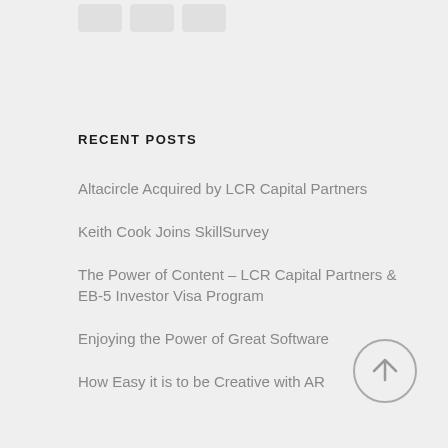[Figure (other): Three small rounded rectangle icon boxes at the top]
RECENT POSTS
Altacircle Acquired by LCR Capital Partners
Keith Cook Joins SkillSurvey
The Power of Content – LCR Capital Partners & EB-5 Investor Visa Program
Enjoying the Power of Great Software
How Easy it is to be Creative with AR
[Figure (other): Circular scroll-to-top button with upward arrow]